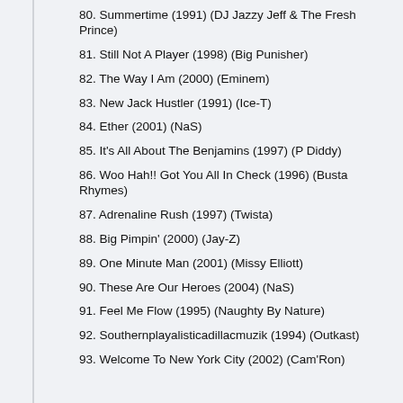80. Summertime (1991) (DJ Jazzy Jeff & The Fresh Prince)
81. Still Not A Player (1998) (Big Punisher)
82. The Way I Am (2000) (Eminem)
83. New Jack Hustler (1991) (Ice-T)
84. Ether (2001) (NaS)
85. It's All About The Benjamins (1997) (P Diddy)
86. Woo Hah!! Got You All In Check (1996) (Busta Rhymes)
87. Adrenaline Rush (1997) (Twista)
88. Big Pimpin' (2000) (Jay-Z)
89. One Minute Man (2001) (Missy Elliott)
90. These Are Our Heroes (2004) (NaS)
91. Feel Me Flow (1995) (Naughty By Nature)
92. Southernplayalisticadillacmuzik (1994) (Outkast)
93. Welcome To New York City (2002) (Cam'Ron)